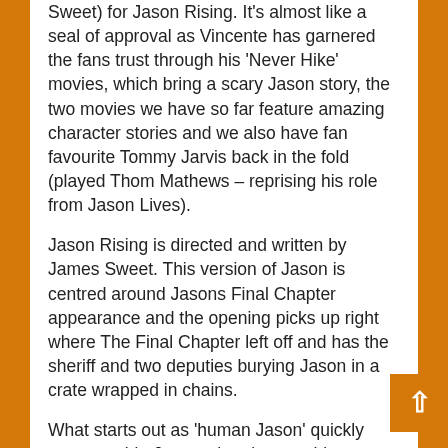Sweet) for Jason Rising. It's almost like a seal of approval as Vincente has garnered the fans trust through his 'Never Hike' movies, which bring a scary Jason story, the two movies we have so far feature amazing character stories and we also have fan favourite Tommy Jarvis back in the fold (played Thom Mathews – reprising his role from Jason Lives).
Jason Rising is directed and written by James Sweet. This version of Jason is centred around Jasons Final Chapter appearance and the opening picks up right where The Final Chapter left off and has the sheriff and two deputies burying Jason in a crate wrapped in chains.
What starts out as 'human Jason' quickly turns zombie Jason when he gets his welcomed resurrection, which boots a very well put together